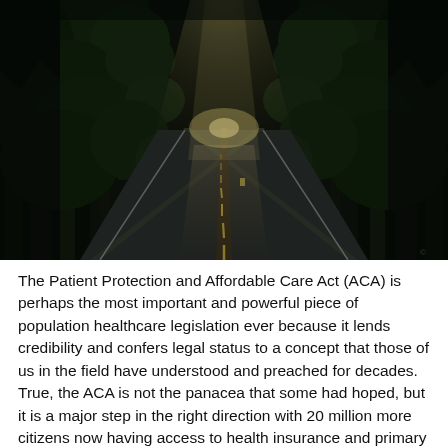[Figure (photo): A dark forest road with a single lane winding into the distance. Tall conifers line both sides. Light rays break through the canopy illuminating the center of the road. The scene is atmospheric and moody.]
The Patient Protection and Affordable Care Act (ACA) is perhaps the most important and powerful piece of population healthcare legislation ever because it lends credibility and confers legal status to a concept that those of us in the field have understood and preached for decades.  True, the ACA is not the panacea that some had hoped, but it is a major step in the right direction with 20 million more citizens now having access to health insurance and primary care services.  It has helped save lives, acknowledged the importance and elevated the status of primary care, compensated